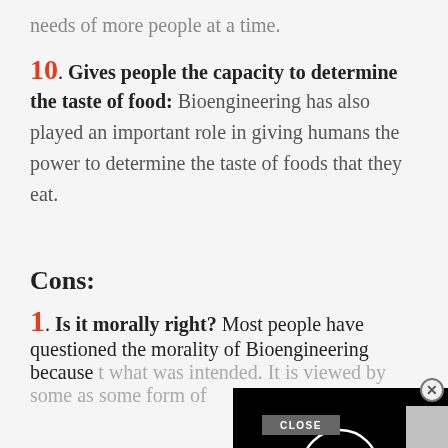needs of more people at a time.
10. Gives people the capacity to determine the taste of food: Bioengineering has also played an important role in giving humans the power to determine the taste of foods that they eat.
Cons:
1. Is it morally right? Most people have questioned the morality of Bioengineering because it what was intended. It is viewed by some as some form of
[Figure (screenshot): Video player overlay with black background and white circle play indicator, with a close button (X) in top right and a CLOSE bar button]